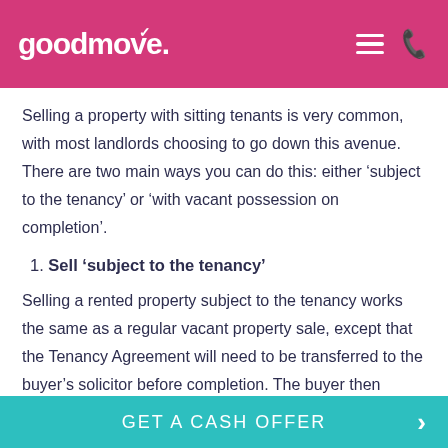goodmove.
Selling a property with sitting tenants is very common, with most landlords choosing to go down this avenue. There are two main ways you can do this: either ‘subject to the tenancy’ or ‘with vacant possession on completion’.
1. Sell ‘subject to the tenancy’
Selling a rented property subject to the tenancy works the same as a regular vacant property sale, except that the Tenancy Agreement will need to be transferred to the buyer’s solicitor before completion. The buyer then becomes the new landlord to your tenants.
GET A CASH OFFER